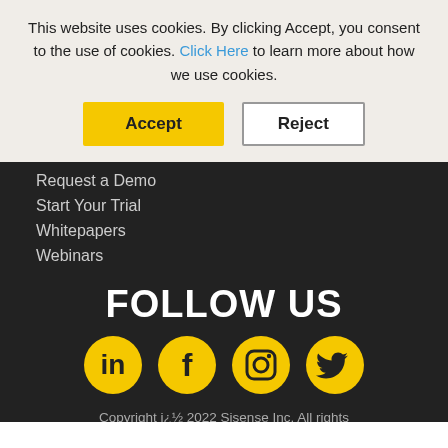This website uses cookies. By clicking Accept, you consent to the use of cookies. Click Here to learn more about how we use cookies.
Accept | Reject
Request a Demo
Start Your Trial
Whitepapers
Webinars
FOLLOW US
[Figure (illustration): Four yellow circular social media icons: LinkedIn, Facebook, Instagram, Twitter]
Copyright i¿½ 2022 Sisense Inc. All rights